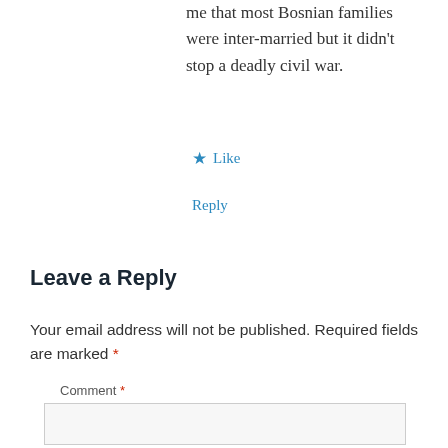me that most Bosnian families were inter-married but it didn't stop a deadly civil war.
★ Like
Reply
Leave a Reply
Your email address will not be published. Required fields are marked *
Comment *